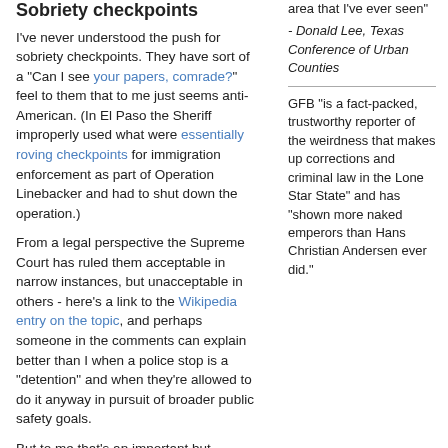Sobriety checkpoints
I've never understood the push for sobriety checkpoints. They have sort of a "Can I see your papers, comrade?" feel to them that to me just seems anti-American. (In El Paso the Sheriff improperly used what were essentially roving checkpoints for immigration enforcement as part of Operation Linebacker and had to shut down the operation.)
From a legal perspective the Supreme Court has ruled them acceptable in narrow instances, but unacceptable in others - here's a link to the Wikipedia entry on the topic, and perhaps someone in the comments can explain better than I when a police stop is a "detention" and when they're allowed to do it anyway in pursuit of broader public safety goals.
But to me that's an important but secondary concern to the fact that, as a law enforcement
area that I've ever seen"
- Donald Lee, Texas Conference of Urban Counties
GFB "is a fact-packed, trustworthy reporter of the weirdness that makes up corrections and criminal law in the Lone Star State" and has "shown more naked emperors than Hans Christian Andersen ever did."